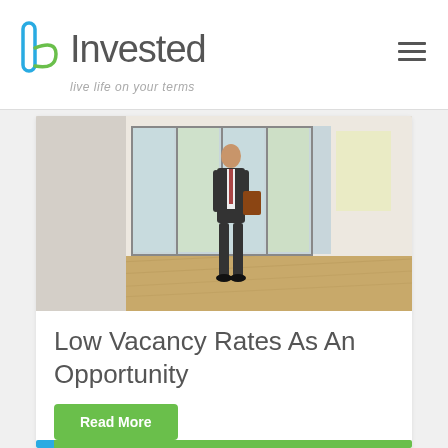bInvested — live life on your terms
[Figure (photo): A man in a dark suit holding a clipboard/folder standing in an empty room with hardwood floors and large glass/patio doors in the background]
Low Vacancy Rates As An Opportunity
Read More